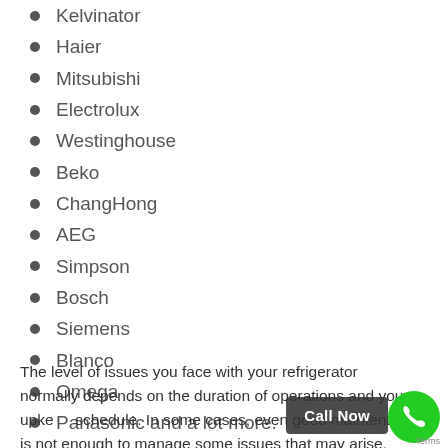Kelvinator
Haier
Mitsubishi
Electrolux
Westinghouse
Beko
ChangHong
AEG
Simpson
Bosch
Siemens
Blanco
Omega
Panasonic and a lot more.
The level of issues you face with your refrigerator normally depends on the duration of operations and your upkeep schedule. In some cases, even good maintenance is not enough to manage some issues that may arise.